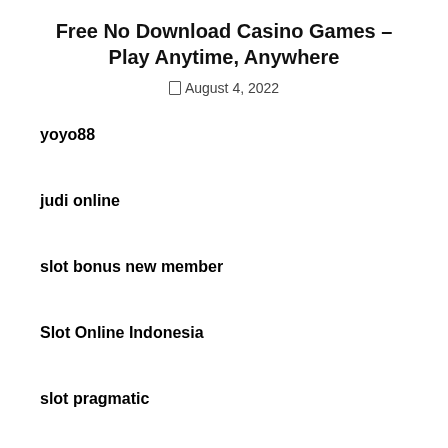Free No Download Casino Games – Play Anytime, Anywhere
August 4, 2022
yoyo88
judi online
slot bonus new member
Slot Online Indonesia
slot pragmatic